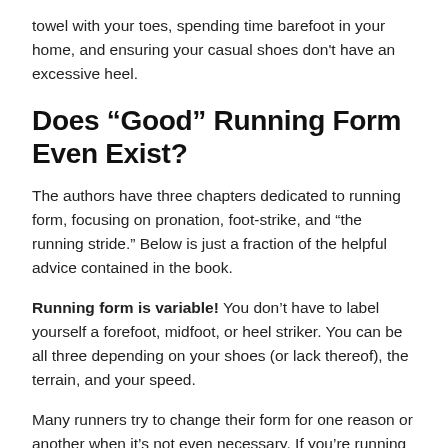towel with your toes, spending time barefoot in your home, and ensuring your casual shoes don't have an excessive heel.
Does “Good” Running Form Even Exist?
The authors have three chapters dedicated to running form, focusing on pronation, foot-strike, and “the running stride.” Below is just a fraction of the helpful advice contained in the book.
Running form is variable! You don’t have to label yourself a forefoot, midfoot, or heel striker. You can be all three depending on your shoes (or lack thereof), the terrain, and your speed.
Many runners try to change their form for one reason or another when it’s not even necessary. If you’re running well and you don’t have frequent injuries